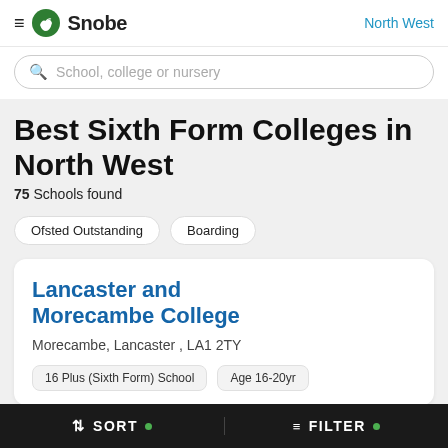Snobe — North West
School, college or nursery
Best Sixth Form Colleges in North West
75 Schools found
Ofsted Outstanding
Boarding
Lancaster and Morecambe College
Morecambe, Lancaster, LA1 2TY
16 Plus (Sixth Form) School | Age 16-20yr
SORT • FILTER •